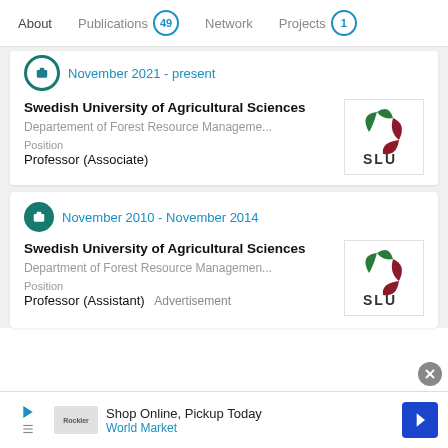About  Publications 49  Network  Projects 1
November 2021 - present
Swedish University of Agricultural Sciences
Departement of Forest Resource Manageme...
Position
Professor (Associate)
[Figure (logo): SLU (Swedish University of Agricultural Sciences) logo with green and dark red leaf design]
November 2010 - November 2014
Swedish University of Agricultural Sciences
Department of Forest Resource Managemen...
Position
Professor (Assistant)
[Figure (logo): SLU (Swedish University of Agricultural Sciences) logo with green and dark red leaf design]
Advertisement
Shop Online, Pickup Today
World Market